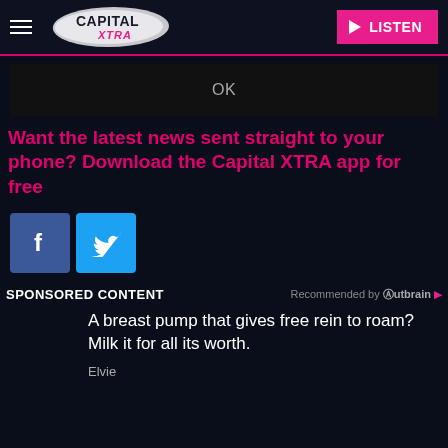[Figure (logo): Capital XTRA radio station logo with hamburger menu and LISTEN button]
OK
Want the latest news sent straight to your phone? Download the Capital XTRA app for free
[Figure (illustration): Facebook and Twitter social media icon buttons]
SPONSORED CONTENT
Recommended by Outbrain
A breast pump that gives free rein to roam? Milk it for all its worth.
Elvie